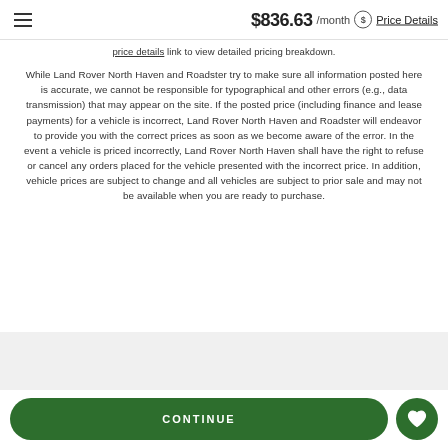$836.63 /month ⓘ Price Details
price details link to view detailed pricing breakdown.
While Land Rover North Haven and Roadster try to make sure all information posted here is accurate, we cannot be responsible for typographical and other errors (e.g., data transmission) that may appear on the site. If the posted price (including finance and lease payments) for a vehicle is incorrect, Land Rover North Haven and Roadster will endeavor to provide you with the correct prices as soon as we become aware of the error. In the event a vehicle is priced incorrectly, Land Rover North Haven shall have the right to refuse or cancel any orders placed for the vehicle presented with the incorrect price. In addition, vehicle prices are subject to change and all vehicles are subject to prior sale and may not be available when you are ready to purchase.